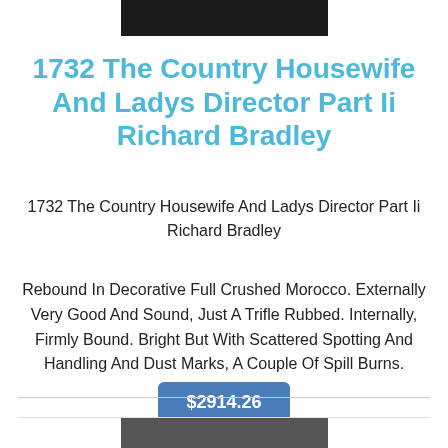[Figure (photo): Top partial image of a book cover, dark background]
1732 The Country Housewife And Ladys Director Part Ii Richard Bradley
1732 The Country Housewife And Ladys Director Part Ii Richard Bradley
Rebound In Decorative Full Crushed Morocco. Externally Very Good And Sound, Just A Trifle Rubbed. Internally, Firmly Bound. Bright But With Scattered Spotting And Handling And Dust Marks, A Couple Of Spill Burns.
$2914.26
[Figure (photo): Bottom partial image of a book cover]